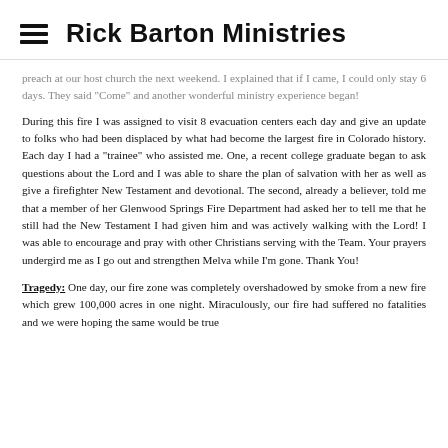Rick Barton Ministries
preach at our host church the next weekend.  I explained that if I came, I could only stay 6 days.  They said "Come" and another wonderful ministry experience began!
During this fire I was assigned to visit 8 evacuation centers each day and give an update to folks who had been displaced by what had become the largest fire in Colorado history.  Each day I had a "trainee" who assisted me.  One, a recent college graduate began to ask questions about the Lord and I was able to share the plan of salvation with her as well as give a firefighter New Testament and devotional.   The second, already a believer, told me that a member of her Glenwood Springs Fire Department had asked her to tell me that he still had the New Testament I had given him and was actively walking with the Lord!  I was able to encourage and pray with other Christians serving with the Team.   Your prayers undergird me as I go out and strengthen Melva while I'm gone.  Thank You!
Tragedy:  One day, our fire zone was completely overshadowed by smoke from a new fire which grew 100,000 acres in one night.  Miraculously, our fire had suffered no fatalities and we were hoping the same would be true